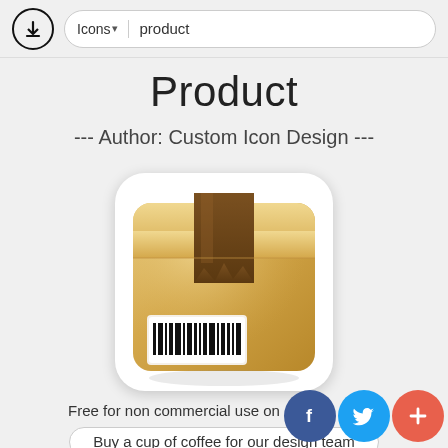Icons ▾  product
Product
--- Author: Custom Icon Design ---
[Figure (illustration): Product package icon: a golden-brown cardboard box with rounded corners, a dark brown tape strip across the top with a torn/jagged bottom edge, and a barcode label on the lower-left front face.]
Free for non commercial use only
Buy a cup of coffee for our design team